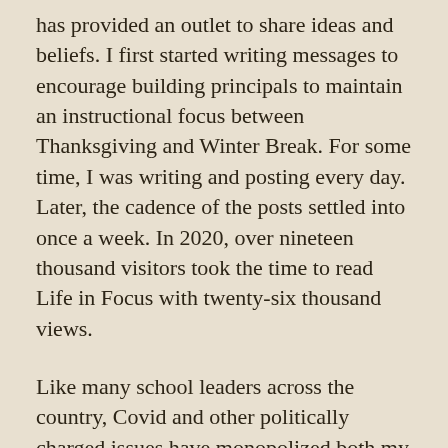has provided an outlet to share ideas and beliefs. I first started writing messages to encourage building principals to maintain an instructional focus between Thanksgiving and Winter Break. For some time, I was writing and posting every day. Later, the cadence of the posts settled into once a week. In 2020, over nineteen thousand visitors took the time to read Life in Focus with twenty-six thousand views.
Like many school leaders across the country, Covid and other politically charged issues have monopolized both my time and energy. Whenever we put our ideas out in public, someone is quick to criticize or attack us with hate. I stopped writing; I was reacting rather than growing. As a public servant, I